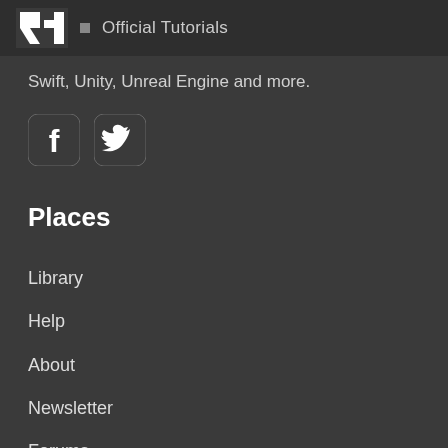Official Tutorials
Swift, Unity, Unreal Engine and more.
[Figure (logo): Facebook and Twitter social media icon buttons (rounded square dark icons with white symbols)]
Places
Library
Help
About
Newsletter
Forums
Podcast